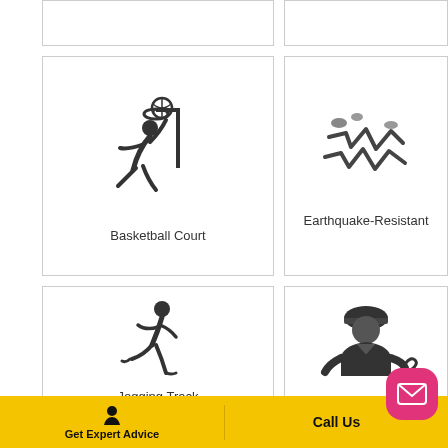[Figure (illustration): Basketball court icon: silhouette of a person dunking a basketball with a hoop]
Basketball Court
[Figure (illustration): Earthquake-Resistant icon: jagged lightning bolt / seismic wave symbol]
Earthquake-Resistant
[Figure (illustration): Jogging track icon: silhouette of a running person]
Jogging Track
[Figure (illustration): Maintenance staff icon: worker with hard hat and wrench]
Maintenance Staff
[Figure (illustration): Partial icon visible at bottom — appears to be two people (community/visitor icon)]
Get Expert Advice   Call Us